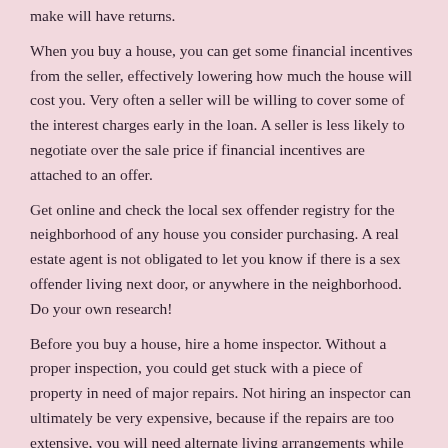make will have returns.
When you buy a house, you can get some financial incentives from the seller, effectively lowering how much the house will cost you. Very often a seller will be willing to cover some of the interest charges early in the loan. A seller is less likely to negotiate over the sale price if financial incentives are attached to an offer.
Get online and check the local sex offender registry for the neighborhood of any house you consider purchasing. A real estate agent is not obligated to let you know if there is a sex offender living next door, or anywhere in the neighborhood. Do your own research!
Before you buy a house, hire a home inspector. Without a proper inspection, you could get stuck with a piece of property in need of major repairs. Not hiring an inspector can ultimately be very expensive, because if the repairs are too extensive, you will need alternate living arrangements while your house is getting repaired.
Look to buy a property that includes a fireplace in the family room; however, unless circumstances warrant it, you do not want this item in any other room of the house. It is a complete hassle to have to clean your fireplace when you do not often use them.